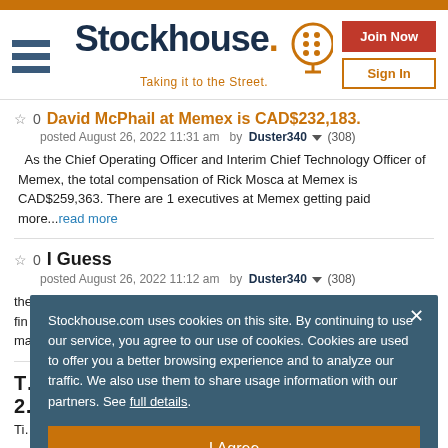Stockhouse. Taking it to the Street.
David McPhail at Memex is CAD$232,183.
posted August 26, 2022 11:31 am  by  Duster340 ▼ (308)
As the Chief Operating Officer and Interim Chief Technology Officer of Memex, the total compensation of Rick Mosca at Memex is CAD$259,363. There are 1 executives at Memex getting paid more...read more
I Guess
posted August 26, 2022 11:12 am  by  Duster340 ▼ (308)
the... fin... ma...
T... 2...
Ti... Me... br...
Stockhouse.com uses cookies on this site. By continuing to use our service, you agree to our use of cookies. Cookies are used to offer you a better browsing experience and to analyze our traffic. We also use them to share usage information with our partners. See full details.